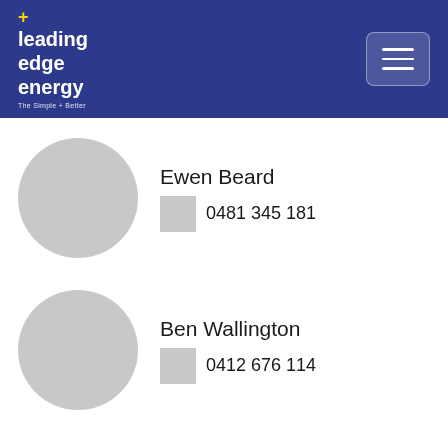+ leading edge energy — The Simple + Better
[Figure (photo): Circular grey avatar placeholder for Ewen Beard]
Ewen Beard
0481 345 181
[Figure (photo): Circular grey avatar placeholder for Ben Wallington]
Ben Wallington
0412 676 114
This site uses "cookies" to give you the best experience on this website.
To learn more, read our Privacy Policy.
Accept Cookies